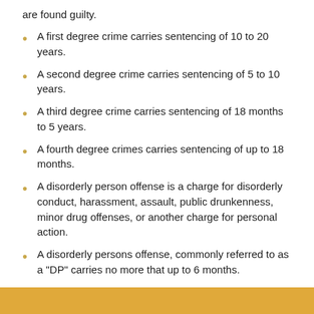are found guilty.
A first degree crime carries sentencing of 10 to 20 years.
A second degree crime carries sentencing of 5 to 10 years.
A third degree crime carries sentencing of 18 months to 5 years.
A fourth degree crimes carries sentencing of up to 18 months.
A disorderly person offense is a charge for disorderly conduct, harassment, assault, public drunkenness, minor drug offenses, or another charge for personal action.
A disorderly persons offense, commonly referred to as a "DP" carries no more that up to 6 months.